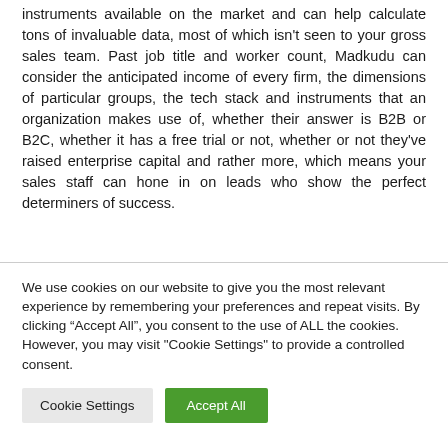instruments available on the market and can help calculate tons of invaluable data, most of which isn't seen to your gross sales team. Past job title and worker count, Madkudu can consider the anticipated income of every firm, the dimensions of particular groups, the tech stack and instruments that an organization makes use of, whether their answer is B2B or B2C, whether it has a free trial or not, whether or not they've raised enterprise capital and rather more, which means your sales staff can hone in on leads who show the perfect determiners of success.
We use cookies on our website to give you the most relevant experience by remembering your preferences and repeat visits. By clicking "Accept All", you consent to the use of ALL the cookies. However, you may visit "Cookie Settings" to provide a controlled consent.